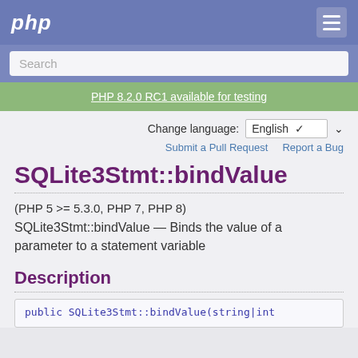php
Search
PHP 8.2.0 RC1 available for testing
Change language: English
Submit a Pull Request   Report a Bug
SQLite3Stmt::bindValue
(PHP 5 >= 5.3.0, PHP 7, PHP 8)
SQLite3Stmt::bindValue — Binds the value of a parameter to a statement variable
Description
public SQLite3Stmt::bindValue(string|int